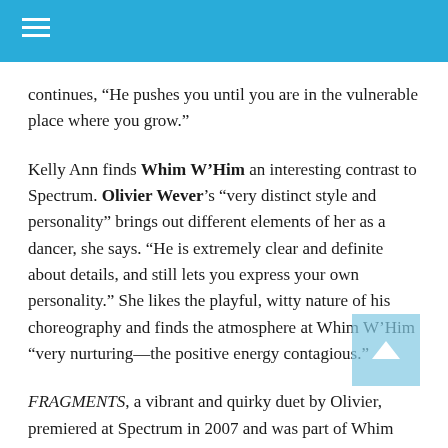≡
continues, “He pushes you until you are in the vulnerable place where you grow.”
Kelly Ann finds Whim W’Him an interesting contrast to Spectrum. Olivier Wever’s “very distinct style and personality” brings out different elements of her as a dancer, she says. “He is extremely clear and definite about details, and still lets you express your own personality.” She likes the playful, witty nature of his choreography and finds the atmosphere at Whim W’Him “very nurturing—the positive energy contagious.”
FRAGMENTS, a vibrant and quirky duet by Olivier, premiered at Spectrum in 2007 and was part of Whim W’Him’s first full program but …